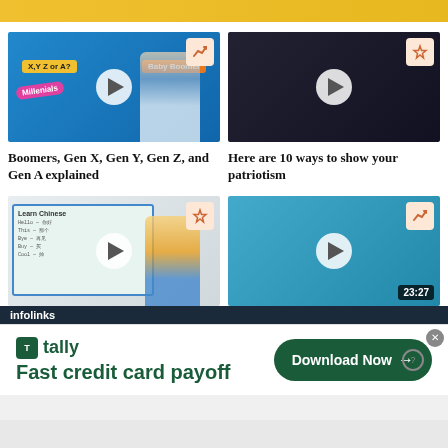[Figure (screenshot): Video thumbnail: man with generational labels X,Y,Z or A, Baby Boomer, Millennials on blue background with play button]
Boomers, Gen X, Gen Y, Gen Z, and Gen A explained
[Figure (screenshot): Video thumbnail: three young people holding American flag on dark background with play button and flame icon]
Here are 10 ways to show your patriotism
[Figure (screenshot): Video thumbnail: woman in yellow shirt in front of whiteboard with Learn Chinese text and play button and flame icon]
[Figure (screenshot): Video thumbnail: runners in triathlon race with play button, trending arrow icon, and timer 23:27]
infolinks
[Figure (infographic): Tally advertisement: Fast credit card payoff with Download Now button]